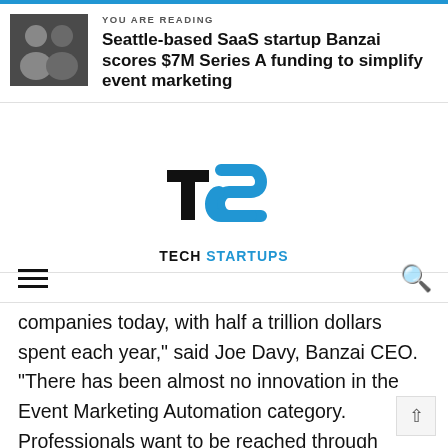YOU ARE READING
Seattle-based SaaS startup Banzai scores $7M Series A funding to simplify event marketing
[Figure (logo): Tech Startups logo with TS initials in black and blue]
companies today, with half a trillion dollars spent each year," said Joe Davy, Banzai CEO. "There has been almost no innovation in the Event Marketing Automation category. Professionals want to be reached through powerful experiences, and companies will need to adopt new solutions to reach their customers."